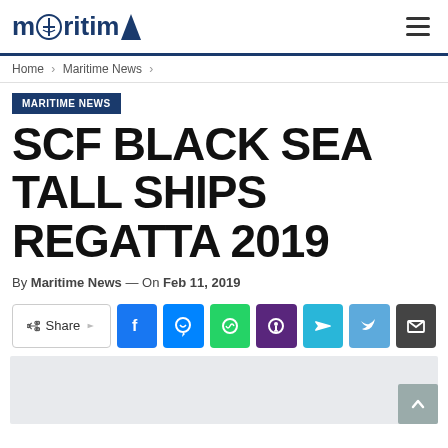maritime
Home > Maritime News >
MARITIME NEWS
SCF BLACK SEA TALL SHIPS REGATTA 2019
By Maritime News — On Feb 11, 2019
[Figure (other): Social share bar with Share button and icons for Facebook, Messenger, WhatsApp, Viber, Telegram, Twitter, Email]
[Figure (other): Advertisement gray placeholder area]